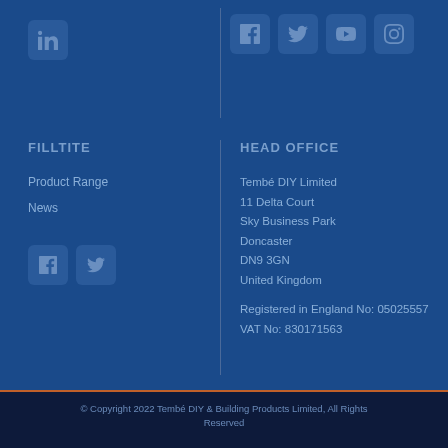[Figure (logo): LinkedIn icon box (top left)]
[Figure (logo): Facebook, Twitter, YouTube, Instagram icon boxes (top right)]
FILLTITE
Product Range
News
[Figure (logo): Facebook and Twitter icon boxes (bottom left)]
HEAD OFFICE
Tembé DIY Limited
11 Delta Court
Sky Business Park
Doncaster
DN9 3GN
United Kingdom
Registered in England No: 05025557
VAT No: 830171563
© Copyright 2022 Tembé DIY & Building Products Limited, All Rights Reserved